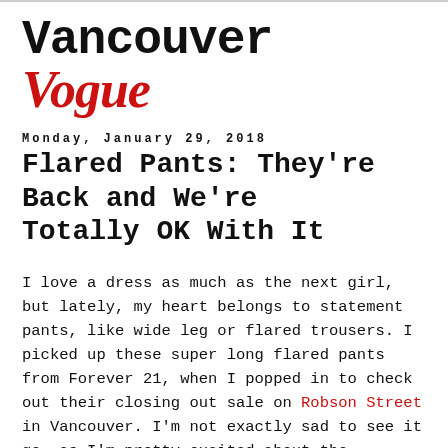Vancouver Vogue
Monday, January 29, 2018
Flared Pants: They're Back and We're Totally OK With It
I love a dress as much as the next girl, but lately, my heart belongs to statement pants, like wide leg or flared trousers. I picked up these super long flared pants from Forever 21, when I popped in to check out their closing out sale on Robson Street in Vancouver. I'm not exactly sad to see it go, as I'm pretty excited about the Chapters Indigo that's replacing it, but I'm glad I made a couple of final purchases on deep deep discount.
On the first day I wore these pants, I was in an elevator at